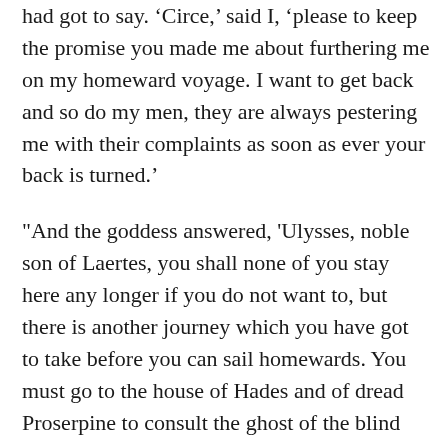had got to say. ‘Circe,’ said I, ‘please to keep the promise you made me about furthering me on my homeward voyage. I want to get back and so do my men, they are always pestering me with their complaints as soon as ever your back is turned.’
"And the goddess answered, 'Ulysses, noble son of Laertes, you shall none of you stay here any longer if you do not want to, but there is another journey which you have got to take before you can sail homewards. You must go to the house of Hades and of dread Proserpine to consult the ghost of the blind Theban prophet Teiresias whose reason is still unshaken. To